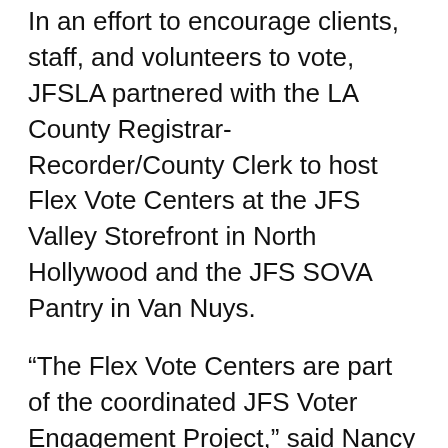In an effort to encourage clients, staff, and volunteers to vote, JFSLA partnered with the LA County Registrar-Recorder/County Clerk to host Flex Vote Centers at the JFS Valley Storefront in North Hollywood and the JFS SOVA Pantry in Van Nuys.
“The Flex Vote Centers are part of the coordinated JFS Voter Engagement Project,” said Nancy Volpert, JFSLA Senior Director of Public Policy and Community Engagement. “It is part of our effort to share with staff, clients and volunteers why voting matters, how to participate and how elections have a direct impact on their day-to-day life.” Many JFSLA clients rely on government benefits such as Medi-Cal and CalFresh, and JFSLA depends on the allocation of government funds to continue providing life-changing programs to our clients.